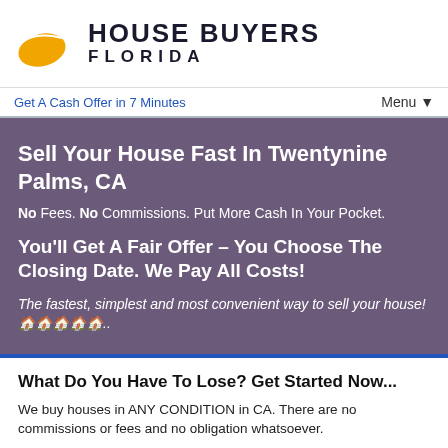[Figure (logo): House Buyers Florida logo with orange oval graphic and text]
Get A Cash Offer in 7 Minutes    Menu▼
Sell Your House Fast In Twentynine Palms, CA
No Fees. No Commissions. Put More Cash In Your Pocket.
You'll Get A Fair Offer – You Choose The Closing Date. We Pay All Costs!
The fastest, simplest and most convenient way to sell your house! 🏠🏠🏠🏠🏠..
What Do You Have To Lose? Get Started Now...
We buy houses in ANY CONDITION in CA. There are no commissions or fees and no obligation whatsoever.